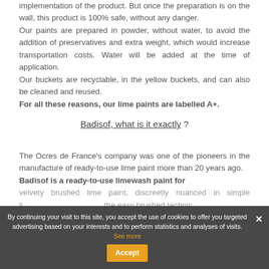implementation of the product. But once the preparation is on the wall, this product is 100% safe, without any danger.
Our paints are prepared in powder, without water, to avoid the addition of preservatives and extra weight, which would increase transportation costs. Water will be added at the time of application.
Our buckets are recyclable, in the yellow buckets, and can also be cleaned and reused.
For all these reasons, our lime paints are labelled A+.
Badisof, what is it exactly ?
The Ocres de France's company was one of the pioneers in the manufacture of ready-to-use lime paint more than 20 years ago.
Badisof is a ready-to-use limewash paint for velvety brushed lime paint, discreetly nuanced in simple li... ...the easy brushed technic.
By continuing your visit to this site, you accept the use of cookies to offer you targeted advertising based on your interests and to perform statistics and analyses of visits. See more